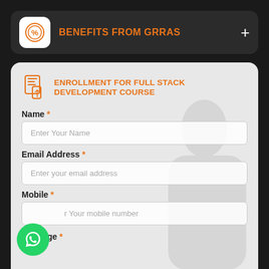BENEFITS FROM GRRAS
ENROLLMENT FOR FULL STACK DEVELOPMENT COURSE
Name *
Enter Your Name
Email Address *
Enter your email address
Mobile *
Enter Your mobile number
Message *